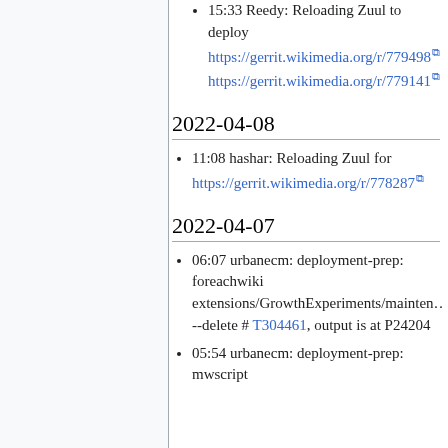15:33 Reedy: Reloading Zuul to deploy https://gerrit.wikimedia.org/r/779498 https://gerrit.wikimedia.org/r/779141
2022-04-08
11:08 hashar: Reloading Zuul for https://gerrit.wikimedia.org/r/778287
2022-04-07
06:07 urbanecm: deployment-prep: foreachwiki extensions/GrowthExperiments/mainten... --delete # T304461, output is at P24204
05:54 urbanecm: deployment-prep: mwscript